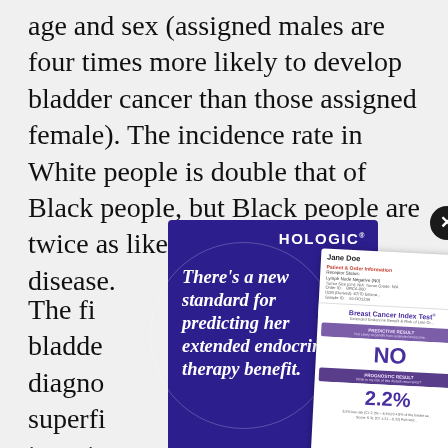age and sex (assigned males are four times more likely to develop bladder cancer than those assigned female). The incidence rate in White people is double that of Black people, but Black people are twice as likely to die from the disease.
[Figure (other): Hologic advertisement overlay showing a purple/dark blue card with text 'There's a new standard for predicting her extended endocrine therapy benefit.' and a Breast Cancer Index Test report showing results NO and 2.2%, with a close button in the top right corner.]
The fi[ve-year survival rate for people] with bladde[r cancer depends on the stag]e of diagno[sis. Bladder cancer stag]ges or superfi[cial tumors are non-muscle-]e-invasiv[e...] muscle[-invasive bladder cancer is me]tatic disease[...] unders[...]